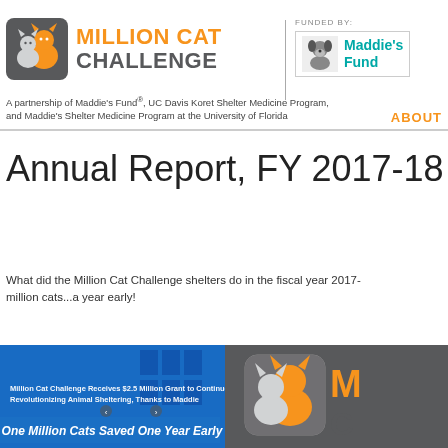MILLION CAT CHALLENGE — FUNDED BY: Maddie's Fund
A partnership of Maddie's Fund®, UC Davis Koret Shelter Medicine Program, and Maddie's Shelter Medicine Program at the University of Florida
ABOUT
Annual Report, FY 2017-18
What did the Million Cat Challenge shelters do in the fiscal year 2017-... million cats...a year early!
[Figure (photo): Blue billboard displaying 'Million Cat Challenge Receives $2.5 Million Grant to Continue Revolutionizing Animal Sheltering, Thanks to Maddie' and 'One Million Cats Saved One Year Early']
[Figure (logo): Million Cat Challenge logo on grey background showing cat silhouette icon and partial text M / C]